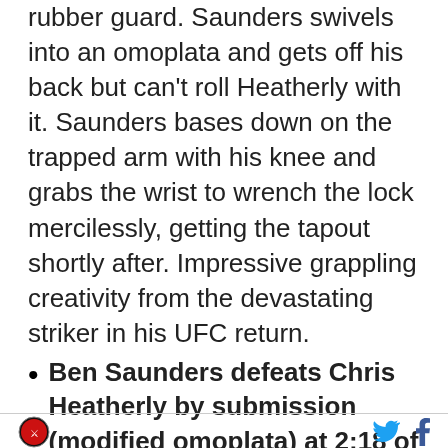rubber guard. Saunders swivels into an omoplata and gets off his back but can't roll Heatherly with it. Saunders bases down on the trapped arm with his knee and grabs the wrist to wrench the lock mercilessly, getting the tapout shortly after. Impressive grappling creativity from the devastating striker in his UFC return.
Ben Saunders defeats Chris Heatherly by submission (modified omoplata) at 2:18 of Round 1
[Figure (logo): Circular logo with red and white design]